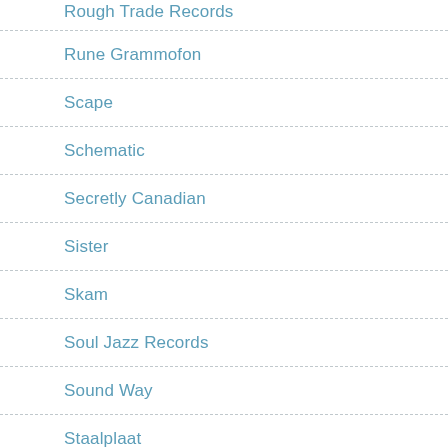Rough Trade Records
Rune Grammofon
Scape
Schematic
Secretly Canadian
Sister
Skam
Soul Jazz Records
Sound Way
Staalplaat
Static Discos